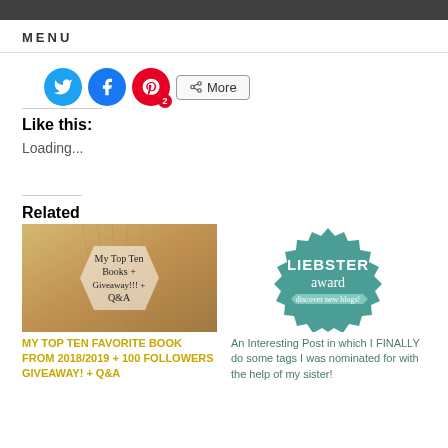MENU
[Figure (screenshot): Social share buttons: Twitter (blue), Facebook (blue), Pinterest (red with badge 2), and a More button]
Like this:
Loading...
Related
[Figure (photo): Book pages fan open with handwritten text: My Top Ten Books + Giveaway!!! + Q&A on a hexagonal overlay]
MY TOP TEN FAVORITE BOOK FROM 2018/2019 + 100 FOLLOWERS GIVEAWAY! + Q&A
[Figure (illustration): Teal starburst badge with LIEBSTER award text and discover new blogs ribbon]
An Interesting Post in which I FINALLY do some tags I was nominated for with the help of my sister!